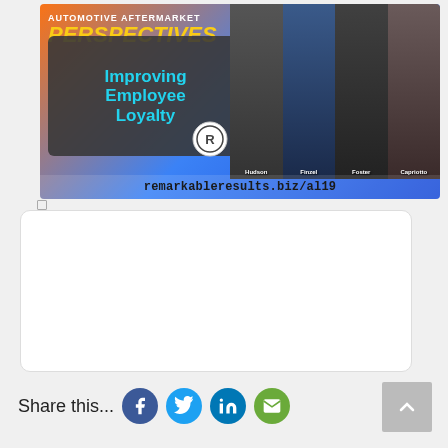[Figure (infographic): Automotive Aftermarket Perspectives podcast banner promoting episode on 'Improving Employee Loyalty' with guests Hudson, Finzel, Foster, Capriotto. Features Town Hall Academy badge, heartbeat EKG line, and URL remarkableresults.biz/al19]
Share this...